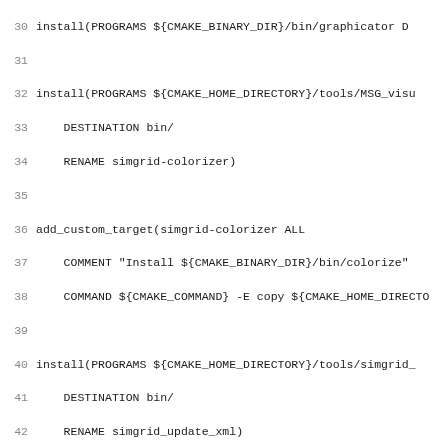Code listing: CMakeLists.txt lines 30-61, showing install and add_custom_target commands for simgrid tools and libraries